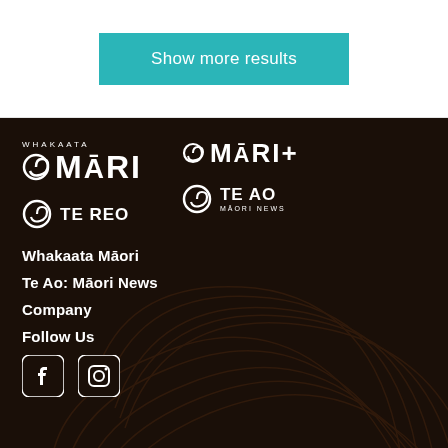Show more results
[Figure (logo): Whakaata Maori logo - white text on dark background with spiral koru symbol]
[Figure (logo): Maori+ logo]
[Figure (logo): Te Reo channel logo with koru spiral]
[Figure (logo): Te Ao Maori News logo with koru spiral]
Whakaata Māori
Te Ao: Māori News
Company
Follow Us
[Figure (illustration): Social media icons - Facebook and Instagram logos in white]